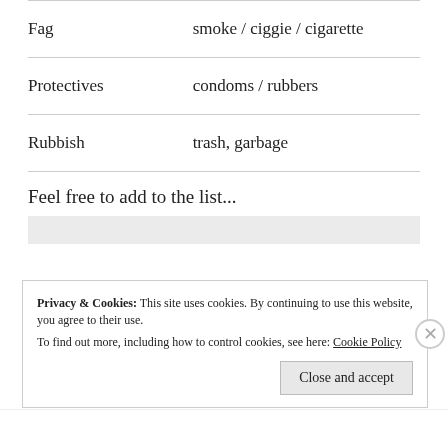| Term | American English equivalent |
| --- | --- |
| Fag | smoke / ciggie / cigarette |
| Protectives | condoms / rubbers |
| Rubbish | trash, garbage |
Feel free to add to the list...
Privacy & Cookies: This site uses cookies. By continuing to use this website, you agree to their use. To find out more, including how to control cookies, see here: Cookie Policy